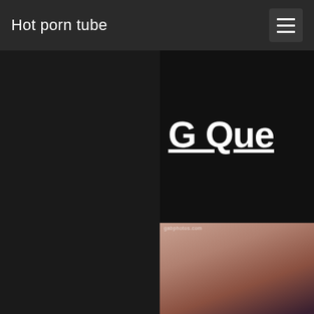Hot porn tube
G Que
[Figure (photo): Partial view of a woman with dark hair wearing a pink top, seated against a dark background]
freinds porn footba porn mapleleafs porn fun dead gay male porn golf cou